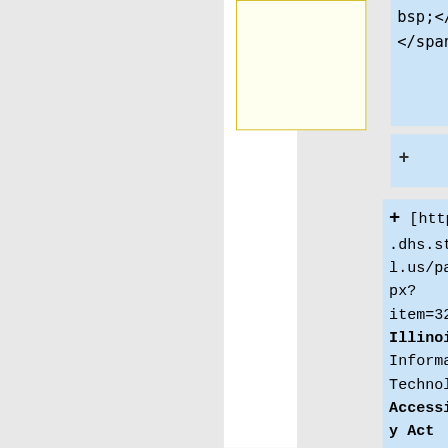[Figure (screenshot): Wikipedia diff page showing code cells. Top area shows a yellow-bordered box on the left and a light-blue highlighted code cell on the right containing 'bsp;</span></span>'. Below is a plus row indicating an addition, then another blue code cell containing a URL '[https://www.dhs.state.il.us/page.aspx?item=32765 Illinois Information Technology Accessibility Act (IITAA)]'. At the bottom is a separator line followed by text 'Latest revision as of 10:47, 30 September 2021' and another separator.]
Latest revision as of 10:47, 30 September 2021